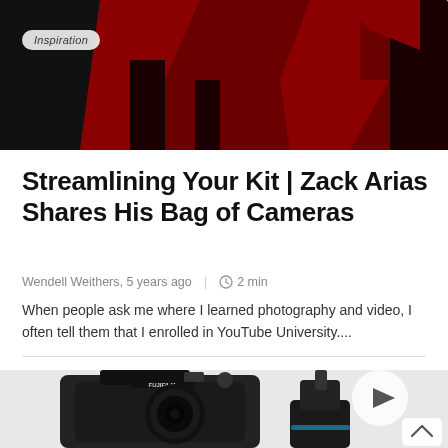[Figure (photo): Hero image with dark red/black silhouettes against a dark red background with an 'Inspiration' badge overlay]
Streamlining Your Kit | Zack Arias Shares His Bag of Cameras
Wendell Weithers, 5 years ago  |  2 min
When people ask me where I learned photography and video, I often tell them that I enrolled in YouTube University....
[Figure (photo): Photo of a Fujifilm mirrorless camera (GFX) and another camera/gimbal device, with a circular play button overlay on the right side]